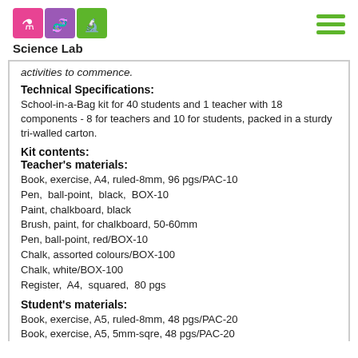[Figure (logo): Science Lab logo with pink chemistry flask, purple DNA strand, and green microscope icons, with 'Science Lab' text below]
activities to commence.
Technical Specifications:
School-in-a-Bag kit for 40 students and 1 teacher with 18 components - 8 for teachers and 10 for students, packed in a sturdy tri-walled carton.
Kit contents:
Teacher's materials:
Book, exercise, A4, ruled-8mm, 96 pgs/PAC-10
Pen,  ball-point,  black,  BOX-10
Paint, chalkboard, black
Brush, paint, for chalkboard, 50-60mm
Pen, ball-point, red/BOX-10
Chalk, assorted colours/BOX-100
Chalk, white/BOX-100
Register,  A4,  squared,  80 pgs
Student's materials:
Book, exercise, A5, ruled-8mm, 48 pgs/PAC-20
Book, exercise, A5, 5mm-sqre, 48 pgs/PAC-20
Book, drawing, A5, plain, 96 pgs/PAC-10